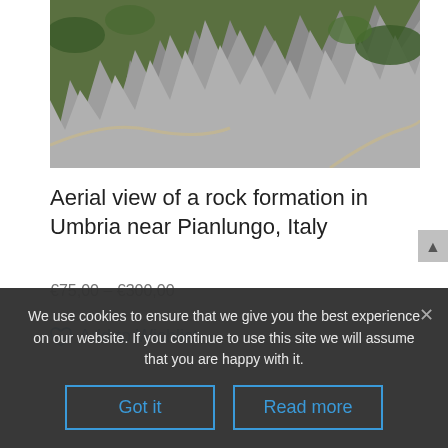[Figure (photo): Aerial view of a rock formation with grey jagged rocky ridges and green vegetation/trees, photographed from above in Umbria near Pianlungo, Italy]
Aerial view of a rock formation in Umbria near Pianlungo, Italy
€75,00 – €300,00
Add to Wishlist
We use cookies to ensure that we give you the best experience on our website. If you continue to use this site we will assume that you are happy with it.